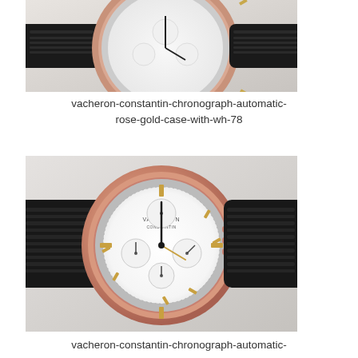[Figure (photo): Partial view of a Vacheron Constantin chronograph watch with rose gold case and black leather strap, showing the upper portion of the watch face with white dial and gold hour markers]
vacheron-constantin-chronograph-automatic-rose-gold-case-with-wh-78
[Figure (photo): Full front view of a Vacheron Constantin chronograph automatic watch with rose gold case, white dial with subsidiary dials, gold baton hour markers, and black crocodile leather strap]
vacheron-constantin-chronograph-automatic-